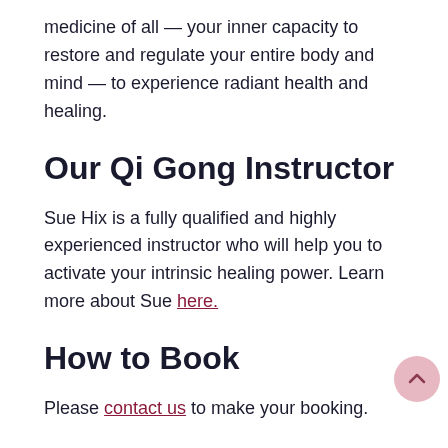medicine of all — your inner capacity to restore and regulate your entire body and mind — to experience radiant health and healing.
Our Qi Gong Instructor
Sue Hix is a fully qualified and highly experienced instructor who will help you to activate your intrinsic healing power. Learn more about Sue here.
How to Book
Please contact us to make your booking.
The Rosewell Centre has a warm and comfortable studio and we like to take advantage of fine weather to practise outside when possible.